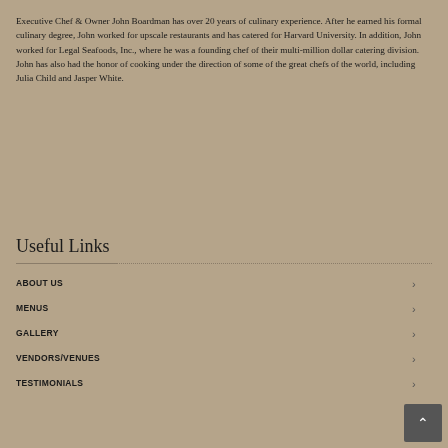Executive Chef & Owner John Boardman has over 20 years of culinary experience. After he earned his formal culinary degree, John worked for upscale restaurants and has catered for Harvard University. In addition, John worked for Legal Seafoods, Inc., where he was a founding chef of their multi-million dollar catering division. John has also had the honor of cooking under the direction of some of the great chefs of the world, including Julia Child and Jasper White.
Useful Links
ABOUT US
MENUS
GALLERY
VENDORS/VENUES
TESTIMONIALS